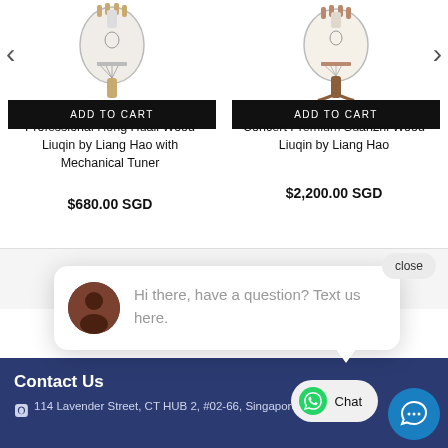[Figure (illustration): Product listing for two Chinese Liuqin instruments with ADD TO CART buttons, navigation arrows]
Professional Hong Huali Wood Liuqin by Liang Hao with Mechanical Tuner
$680.00 SGD
Concert Premium Suanzhi Wood Liuqin by Liang Hao
$2,200.00 SGD
SIGN UP FOR NEWSLETTER
close
Hi there, have a question? Text us here.
Contact Us
114 Lavender Street, CT HUB 2, #02-66, Singapore 338729
Chat